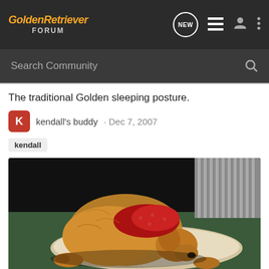GoldenRetriever FORUM
Search Community
The traditional Golden sleeping posture.
kendall's buddy · Dec 7, 2007
kendall
[Figure (photo): A golden retriever curled up sleeping on a round dog bed, wearing a red patterned bandana, photographed in low light on a green carpet.]